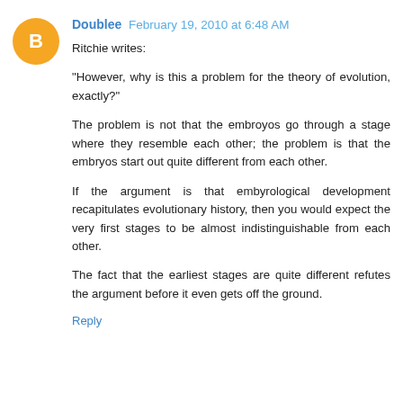Doublee  February 19, 2010 at 6:48 AM
Ritchie writes:

"However, why is this a problem for the theory of evolution, exactly?"

The problem is not that the embroyos go through a stage where they resemble each other; the problem is that the embryos start out quite different from each other.

If the argument is that embyrological development recapitulates evolutionary history, then you would expect the very first stages to be almost indistinguishable from each other.

The fact that the earliest stages are quite different refutes the argument before it even gets off the ground.

Reply